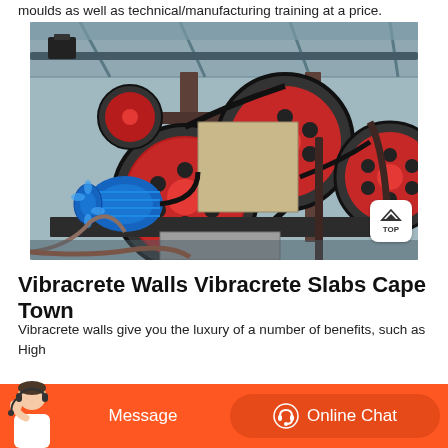moulds as well as technical/manufacturing training at a price.
[Figure (photo): Industrial machinery photograph showing large rotating wheels/pulleys with red and black coloring, a blue electric motor, and heavy metal framework in a factory/warehouse setting. The equipment appears to be concrete block or slab manufacturing machinery.]
Vibracrete Walls Vibracrete Slabs Cape Town
Vibracrete walls give you the luxury of a number of benefits, such as High